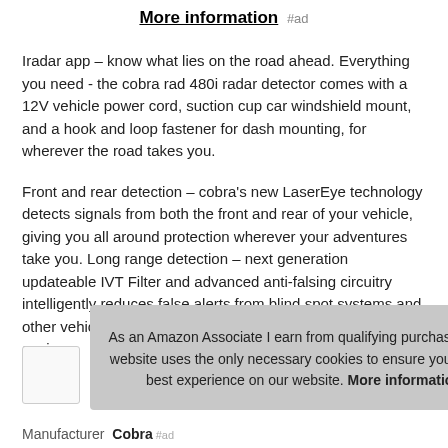More information #ad
Iradar app – know what lies on the road ahead. Everything you need - the cobra rad 480i radar detector comes with a 12V vehicle power cord, suction cup car windshield mount, and a hook and loop fastener for dash mounting, for wherever the road takes you.
Front and rear detection – cobra's new LaserEye technology detects signals from both the front and rear of your vehicle, giving you all around protection wherever your adventures take you. Long range detection – next generation updateable IVT Filter and advanced anti-falsing circuitry intelligently reduces false alerts from blind spot systems and other vehicle avoi
As an Amazon Associate I earn from qualifying purchases. This website uses the only necessary cookies to ensure you get the best experience on our website. More information
Manufacturer Cobra #ad